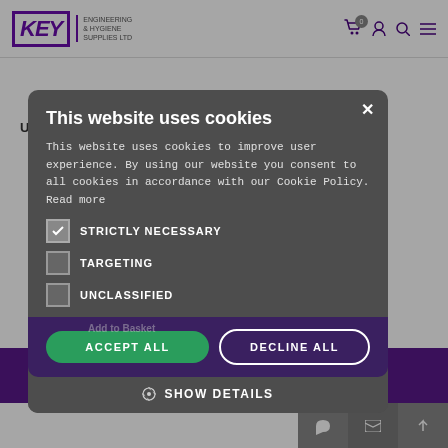KEY ENGINEERING & HYGIENE SUPPLIES LTD
UNPERFUMED WASHING UP LIQUID 1LTR
Stock Code: QDET/1LTR
✖ Out of Stock
£2.99 (exc VAT) per EACH
£3.59 (inc VAT)
Special Price - Save £0.07 (Usually £3.06)
This website uses cookies
This website uses cookies to improve user experience. By using our website you consent to all cookies in accordance with our Cookie Policy. Read more
STRICTLY NECESSARY
TARGETING
UNCLASSIFIED
ACCEPT ALL
DECLINE ALL
SHOW DETAILS